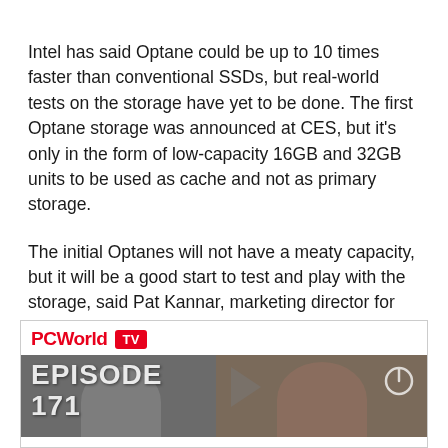Intel has said Optane could be up to 10 times faster than conventional SSDs, but real-world tests on the storage have yet to be done. The first Optane storage was announced at CES, but it's only in the form of low-capacity 16GB and 32GB units to be used as cache and not as primary storage.
The initial Optanes will not have a meaty capacity, but it will be a good start to test and play with the storage, said Pat Kannar, marketing director for Precision desktops at Dell.
[Figure (screenshot): PCWorld TV banner showing Episode 171 video thumbnail with two people visible and a power button icon in the top right corner.]